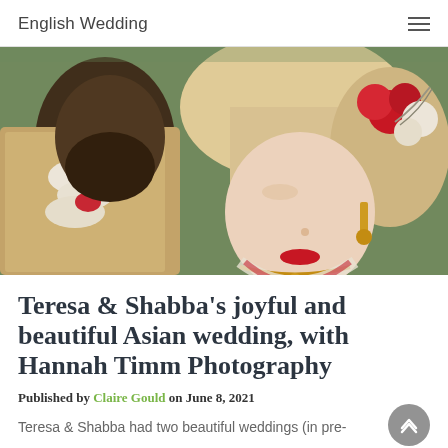English Wedding
[Figure (photo): Close-up wedding photo of a couple in traditional Asian wedding attire. The bride has blonde hair adorned with red and white flowers and gold jewelry. The groom is partially visible wearing traditional Indian/Asian ceremonial garments with a garland of white and red flowers.]
Teresa & Shabba's joyful and beautiful Asian wedding, with Hannah Timm Photography
Published by Claire Gould on June 8, 2021
Teresa & Shabba had two beautiful weddings (in pre-